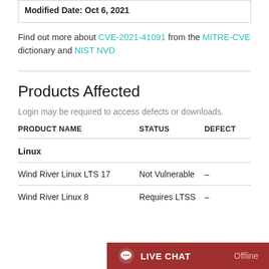Modified Date: Oct 6, 2021
Find out more about CVE-2021-41091 from the MITRE-CVE dictionary and NIST NVD
Products Affected
Login may be required to access defects or downloads.
| PRODUCT NAME | STATUS | DEFECT |
| --- | --- | --- |
| Linux |  |  |
| Wind River Linux LTS 17 | Not Vulnerable | -- |
| Wind River Linux 8 | Requires LTSS | -- |